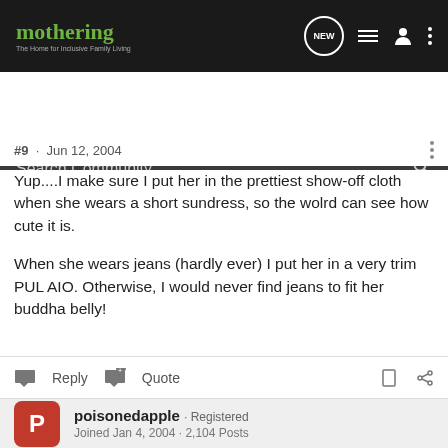[Figure (screenshot): Mothering forum website top navigation bar with logo, NEW bubble icon, list icon, user icon, and three-dot menu.]
[Figure (screenshot): Search Community search bar with magnifier icon on dark background.]
#9 · Jun 12, 2004
Yup....I make sure I put her in the prettiest show-off cloth when she wears a short sundress, so the wolrd can see how cute it is.

When she wears jeans (hardly ever) I put her in a very trim PUL AIO. Otherwise, I would never find jeans to fit her buddha belly!
Reply  Quote
poisonedapple · Registered
Joined Jan 4, 2004 · 2,104 Posts
#10 · Jun 12, 2004